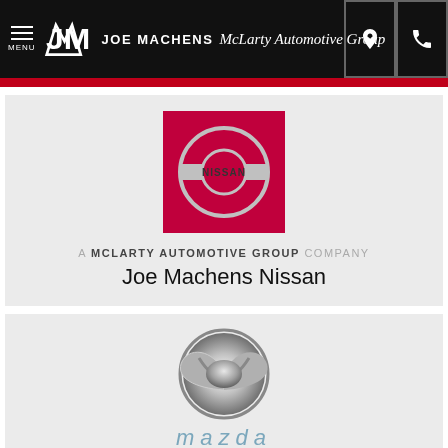MENU | JOE MACHENS McLarty Automotive Group
[Figure (logo): Nissan logo on red background square]
A McLARTY AUTOMOTIVE GROUP COMPANY
Joe Machens Nissan
[Figure (logo): Mazda logo: silver 3D M emblem above stylized mazda text]
A McLARTY AUTOMOTIVE GROUP COMPANY
Joe Machens Mazda